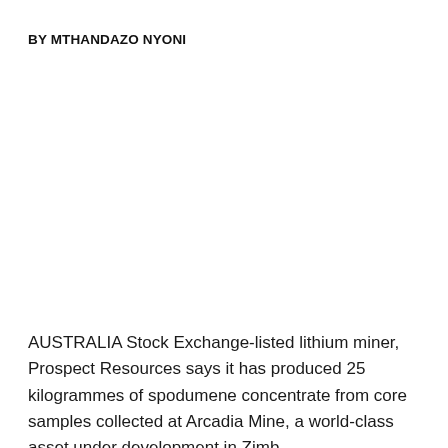BY MTHANDAZO NYONI
AUSTRALIA Stock Exchange-listed lithium miner, Prospect Resources says it has produced 25 kilogrammes of spodumene concentrate from core samples collected at Arcadia Mine, a world-class asset under development in Zimbabwe